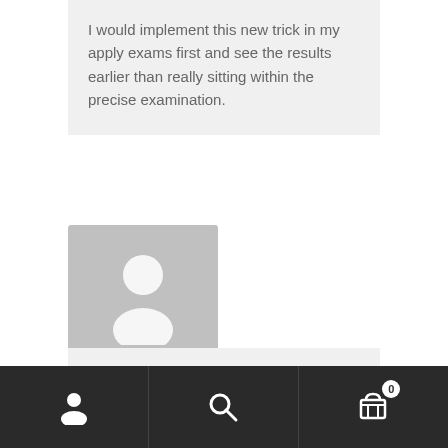I would implement this new trick in my apply exams first and see the results earlier than really sitting within the precise examination.
[Figure (illustration): Default avatar placeholder — grey square with a white person silhouette icon]
sap business one course
August 17, 2022
[Figure (other): Mobile bottom navigation bar with person icon, search icon, and shopping cart icon with badge showing 0]